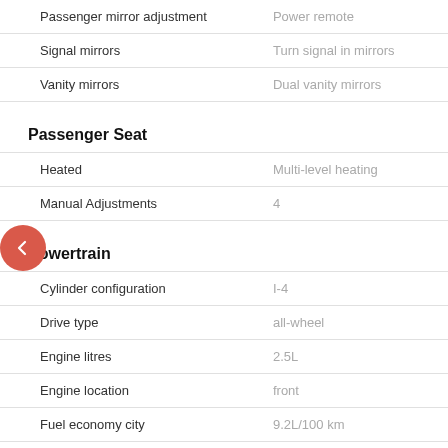| Feature | Value |
| --- | --- |
| Passenger mirror adjustment | Power remote |
| Signal mirrors | Turn signal in mirrors |
| Vanity mirrors | Dual vanity mirrors |
Passenger Seat
| Feature | Value |
| --- | --- |
| Heated | Multi-level heating |
| Manual Adjustments | 4 |
Powertrain
| Feature | Value |
| --- | --- |
| Cylinder configuration | I-4 |
| Drive type | all-wheel |
| Engine litres | 2.5L |
| Engine location | front |
| Fuel economy city | 9.2L/100 km |
| Fuel economy combined | 8.3L/100 km |
| Fuel economy fuel type | gasoline |
| Fuel economy highway | 7.1L/100 km |
| Fuel tank capacity | 55.0L |